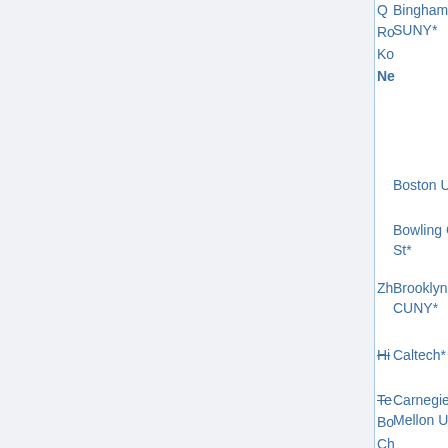| Institution | Area | Date | Names |
| --- | --- | --- | --- |
| Binghamton U, SUNY* | geometry/topology (u) | Nov 2 | Q...
Ro...
Ko...
Ne... |
| Boston U* | stats (u) | Jan 2 |  |
| Bowling Green St* | comp math (u) | Nov 12 |  |
| Brooklyn C, CUNY* | various (u) | Nov 15 | Zh... |
| Caltech* | various (u) | Jan 1 | Hi... |
| Carnegie Mellon U* | comb, logic (u) | Dec 31 | Te...
Bo...
Ch...
Vi...
Ka...
Li...
Mi...
W...
Pe...
Ch...
Mi... |
| Central Michigan U... | Analysis (u) | Nov 1 | De... |